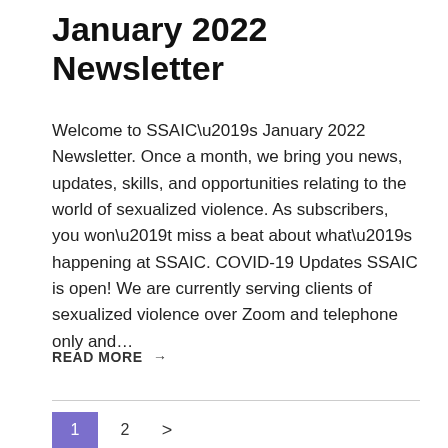January 2022 Newsletter
Welcome to SSAIC’s January 2022 Newsletter. Once a month, we bring you news, updates, skills, and opportunities relating to the world of sexualized violence. As subscribers, you won’t miss a beat about what’s happening at SSAIC. COVID-19 Updates SSAIC is open! We are currently serving clients of sexualized violence over Zoom and telephone only and…
READ MORE →
1  2  >